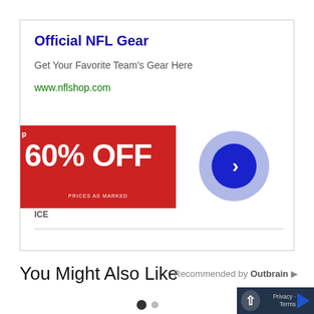[Figure (screenshot): Advertisement box for Official NFL Gear showing a red banner with '60% OFF' text, a navigation arrow circle button, and ad details.]
Official NFL Gear
Get Your Favorite Team's Gear Here
www.nflshop.com
ICE
You Might Also Like
Recommended by Outbrain